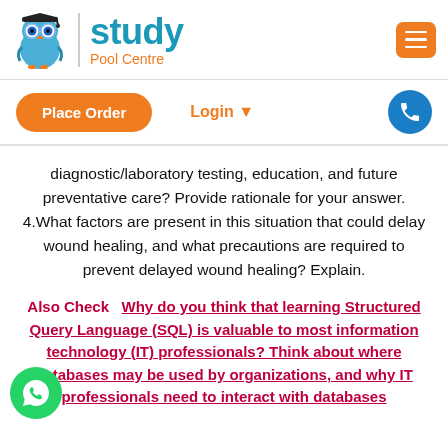[Figure (logo): Study Pool Centre logo with owl mascot wearing graduation cap, blue/teal and orange color scheme, and hamburger menu button]
[Figure (other): Navigation bar with orange Place Order button, orange Login dropdown link, and blue phone icon circle button]
diagnostic/laboratory testing, education, and future preventative care? Provide rationale for your answer. 4.What factors are present in this situation that could delay wound healing, and what precautions are required to prevent delayed wound healing? Explain.
Also Check  Why do you think that learning Structured Query Language (SQL) is valuable to most information technology (IT) professionals? Think about where databases may be used by organizations, and why IT professionals need to interact with databases
[Figure (other): WhatsApp green circle chat button at bottom left]